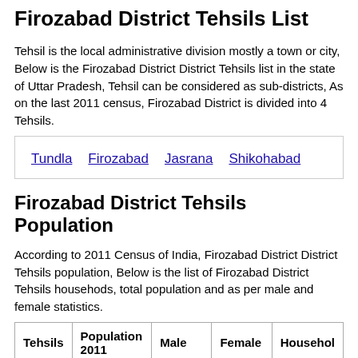Firozabad District Tehsils List
Tehsil is the local administrative division mostly a town or city, Below is the Firozabad District District Tehsils list in the state of Uttar Pradesh, Tehsil can be considered as sub-districts, As on the last 2011 census, Firozabad District is divided into 4 Tehsils.
Tundla
Firozabad
Jasrana
Shikohabad
Firozabad District Tehsils Population
According to 2011 Census of India, Firozabad District District Tehsils population, Below is the list of Firozabad District Tehsils househods, total population and as per male and female statistics.
| Tehsils | Population 2011 | Male | Female | Households |
| --- | --- | --- | --- | --- |
| Tundla | 361,489 | 193,631 | 167,858 | 58,949 |